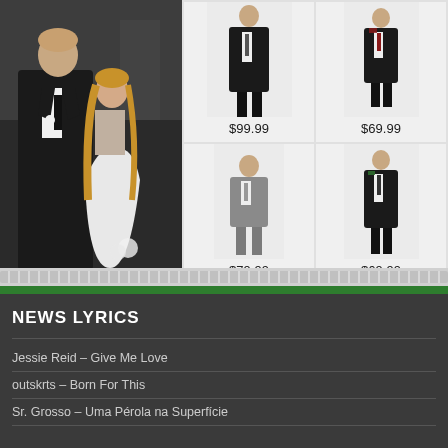[Figure (photo): Wedding couple photo: man in black tuxedo and woman in white dress, standing together outdoors]
[Figure (photo): Man in black suit, full length product photo, price $99.99]
[Figure (photo): Boy in black suit, full length product photo, price $69.99]
[Figure (photo): Young boy in gray suit, full length product photo, price $79.99]
[Figure (photo): Boy in black suit, full length product photo, price $69.99]
NEWS LYRICS
Jessie Reid – Give Me Love
outskrts – Born For This
Sr. Grosso – Uma Pérola na Superfície